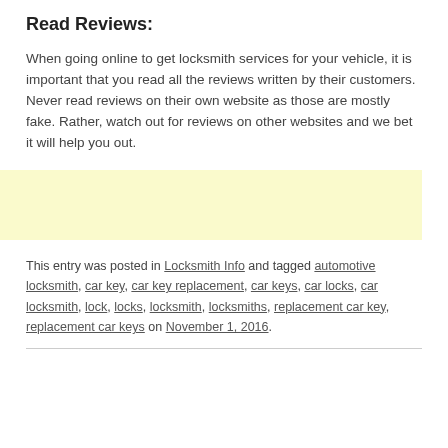Read Reviews:
When going online to get locksmith services for your vehicle, it is important that you read all the reviews written by their customers. Never read reviews on their own website as those are mostly fake. Rather, watch out for reviews on other websites and we bet it will help you out.
[Figure (other): Yellow/cream colored advertisement banner]
This entry was posted in Locksmith Info and tagged automotive locksmith, car key, car key replacement, car keys, car locks, car locksmith, lock, locks, locksmith, locksmiths, replacement car key, replacement car keys on November 1, 2016.